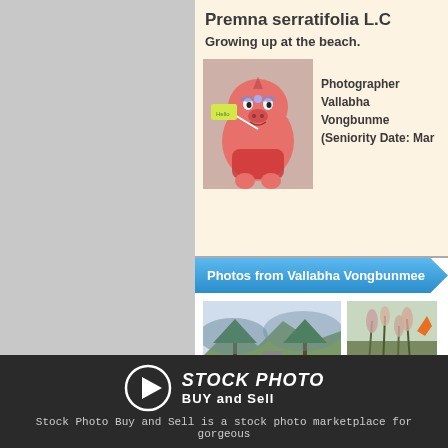Premna serratifolia L.C
Growing up at the beach.
[Figure (photo): Pink cartoon pig toy figurine holding a small yellow sign that says 'Hello']
Photographer Vallabha Vongbunmee (Seniority Date: Mar
Photos from Vallabha Vongbunmee
[Figure (photo): Road through trees and mountains landscape photo]
[Figure (photo): Close-up of grass or reeds]
STOCK PHOTO BUY and Sell — Stock Photo Buy and Sell is a stock photo marketplace for gorgeous